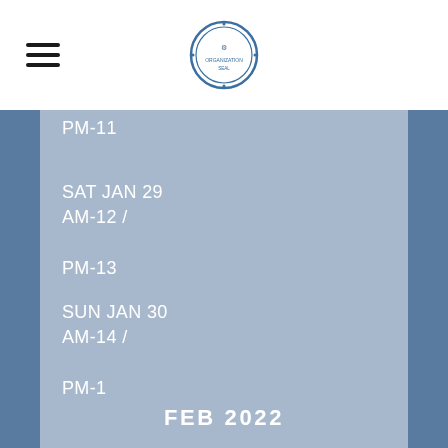[hamburger menu icon] [organization logo/seal]
PM-11
SAT JAN 29
AM-12 /
PM-13
SUN JAN 30
AM-14 /
PM-1
FEB 2022
SAT FEB 05
AM-15 /